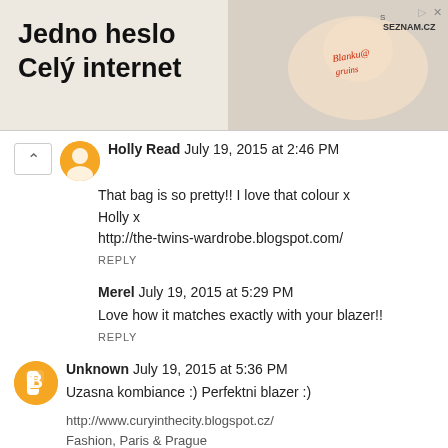[Figure (photo): Advertisement banner for Seznam.cz showing a baby with the text 'Jedno heslo Celý internet' and the Seznam.cz logo with a baby photo background.]
Holly Read  July 19, 2015 at 2:46 PM
That bag is so pretty!! I love that colour x
Holly x
http://the-twins-wardrobe.blogspot.com/
REPLY
Merel  July 19, 2015 at 5:29 PM
Love how it matches exactly with your blazer!!
REPLY
Unknown  July 19, 2015 at 5:36 PM
Uzasna kombiance :) Perfektni blazer :)
http://www.curyinthecity.blogspot.cz/
Fashion, Paris & Prague